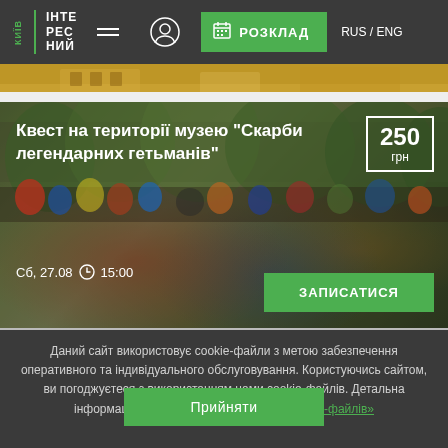КИЇВ ІНТЕРЕСНИЙ — RUS / ENG — РОЗКЛАД
[Figure (photo): Top partial strip showing a yellow building]
[Figure (photo): Outdoor crowd scene with trees and city buildings in autumn; event card overlay showing title, price, date, and register button]
Квест на території музею "Скарби легендарних гетьманів"
Сб, 27.08   15:00
250 грн
ЗАПИСАТИСЯ
Даний сайт використовує cookie-файли з метою забезпечення оперативного та індивідуального обслуговування. Користуючись сайтом, ви погоджуєтеся з використанням нами cookie-файлів. Детальна інформація тут: «Умови використання cookie-файлів»
Прийняти